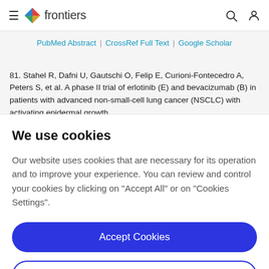frontiers
PubMed Abstract | CrossRef Full Text | Google Scholar
81. Stahel R, Dafni U, Gautschi O, Felip E, Curioni-Fontecedro A, Peters S, et al. A phase II trial of erlotinib (E) and bevacizumab (B) in patients with advanced non-small-cell lung cancer (NSCLC) with activating epidermal growth
We use cookies
Our website uses cookies that are necessary for its operation and to improve your experience. You can review and control your cookies by clicking on "Accept All" or on "Cookies Settings".
Accept Cookies
Cookies Settings